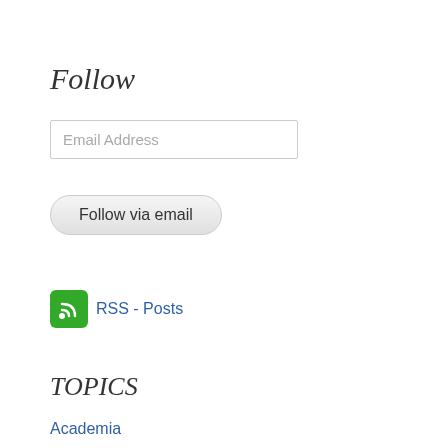Follow
Email Address
Follow via email
[Figure (other): Green RSS feed icon with white wifi-style signal waves]
RSS - Posts
TOPICS
Academia